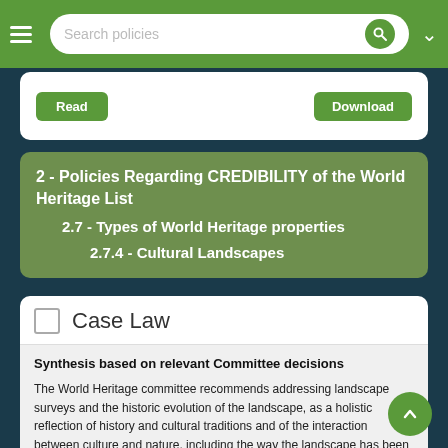Search policies
Read | Download
2 - Policies Regarding CREDIBILITY of the World Heritage List
2.7 - Types of World Heritage properties
2.7.4 - Cultural Landscapes
Case Law
Synthesis based on relevant Committee decisions
The World Heritage committee recommends addressing landscape surveys and the historic evolution of the landscape, as a holistic reflection of history and cultural traditions and of the interaction between culture and nature, including the way the landscape has been shaped by human practices and natural resources (based on Case law